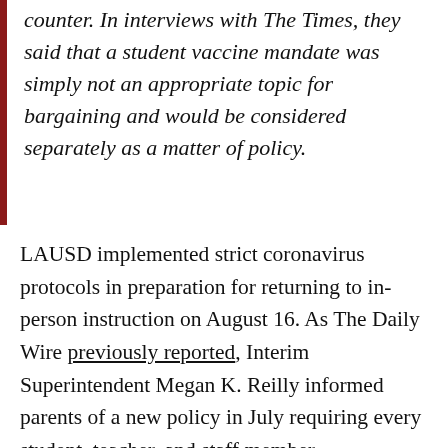counter. In interviews with The Times, they said that a student vaccine mandate was simply not an appropriate topic for bargaining and would be considered separately as a matter of policy.
LAUSD implemented strict coronavirus protocols in preparation for returning to in-person instruction on August 16. As The Daily Wire previously reported, Interim Superintendent Megan K. Reilly informed parents of a new policy in July requiring every student, teacher, and staff member